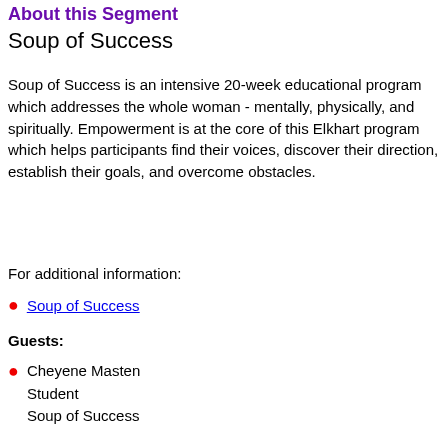About this Segment
Soup of Success
Soup of Success is an intensive 20-week educational program which addresses the whole woman - mentally, physically, and spiritually. Empowerment is at the core of this Elkhart program which helps participants find their voices, discover their direction, establish their goals, and overcome obstacles.
For additional information:
Soup of Success
Guests:
Cheyene Masten
Student
Soup of Success